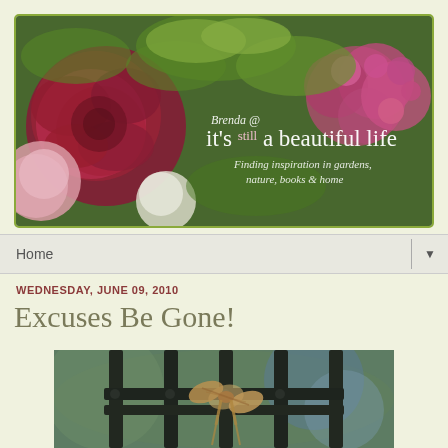[Figure (photo): Blog header banner with flowers — large dark pink/red rose on left, pink flowers on right, green foliage. Text overlay: 'Brenda @ it's still a beautiful life' and 'Finding inspiration in gardens, nature, books & home']
Home
WEDNESDAY, JUNE 09, 2010
Excuses Be Gone!
[Figure (photo): Close-up photo of dark metal gate/fence with a burlap/twine bow tied around the bars, blurred greenery in background]